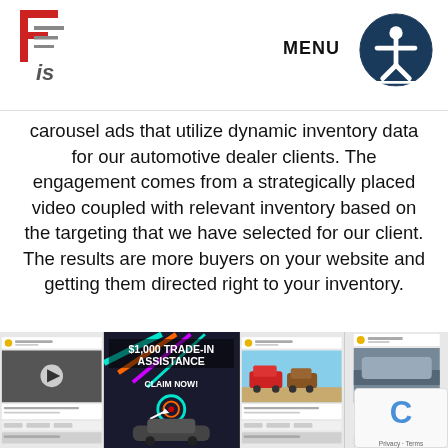FIS logo | MENU
carousel ads that utilize dynamic inventory data for our automotive dealer clients. The engagement comes from a strategically placed video coupled with relevant inventory based on the targeting that we have selected for our client. The results are more buyers on your website and getting them directed right to your inventory.
[Figure (screenshot): Four social media / Facebook ad screenshots showing automotive dealer ads including a video ad, a trade-in assistance ad ($1,000 TRADE-IN ASSISTANCE CLAIM NOW!), and inventory carousel ads with cars.]